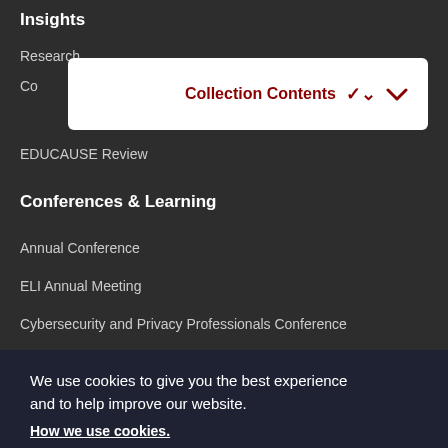Insights
Research
[Figure (screenshot): Collection Contents dropdown button with chevron arrow, white background, dark red text]
Co
EDUCAUSE Review
Conferences & Learning
Annual Conference
ELI Annual Meeting
Cybersecurity and Privacy Professionals Conference
We use cookies to give you the best experience and to help improve our website. How we use cookies.
Thanks for letting me know
Community Groups